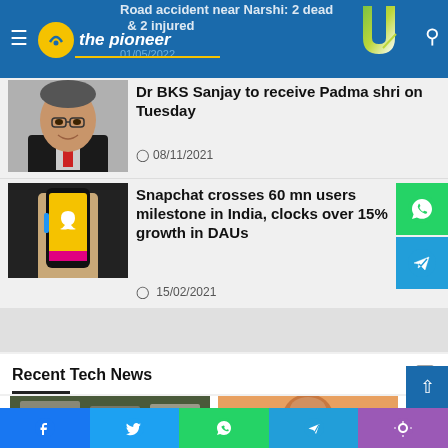the pioneer
Dr BKS Sanjay to receive Padma shri on Tuesday
08/11/2021
Snapchat crosses 60 mn users milestone in India, clocks over 15% growth in DAUs
15/02/2021
Recent Tech News